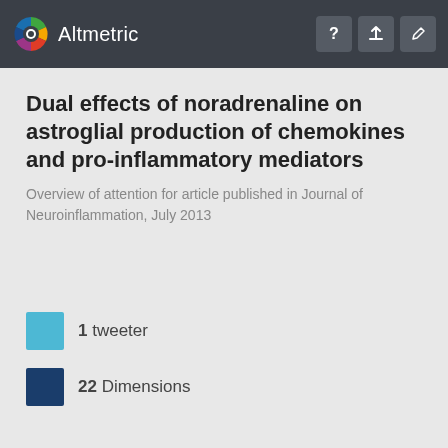Altmetric
Dual effects of noradrenaline on astroglial production of chemokines and pro-inflammatory mediators
Overview of attention for article published in Journal of Neuroinflammation, July 2013
1 tweeter
22 Dimensions